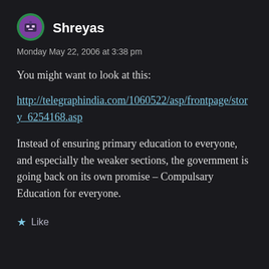[Figure (illustration): Circular avatar icon with green/teal border and purple center showing a small robot/avatar symbol]
Shreyas
Monday May 22, 2006 at 3:38 pm
You might want to look at this:
http://telegraphindia.com/1060522/asp/frontpage/story_6254168.asp
Instead of ensuring primary education to everyone, and especially the weaker sections, the government is going back on its own promise – Compulsary Education for everyone.
★ Like